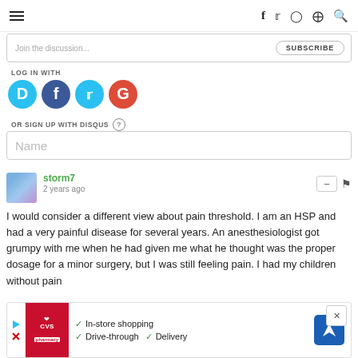Navigation bar with hamburger menu and social icons (f, twitter, instagram, pinterest, search)
Join the discussion... SUBSCRIBE
LOG IN WITH
[Figure (logo): Four social login icons: Disqus (blue circle D), Facebook (blue circle f), Twitter (cyan circle bird), Google (red circle G)]
OR SIGN UP WITH DISQUS ?
Name
storm7
2 years ago
I would consider a different view about pain threshold. I am an HSP and had a very painful disease for several years. An anesthesiologist got grumpy with me when he had given me what he thought was the proper dosage for a minor surgery, but I was still feeling pain. I had my children without pain
interv... a non-H... er myse...
[Figure (advertisement): CVS Pharmacy ad with In-store shopping, Drive-through, and Delivery checkmarks, and a navigation/directions icon]